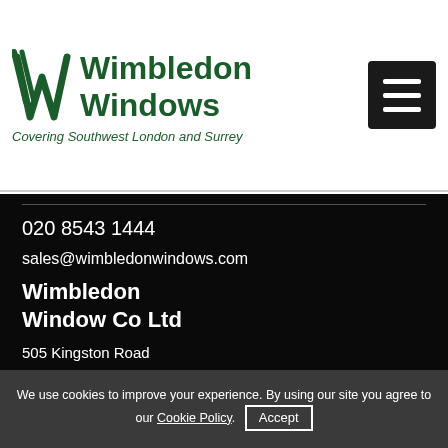[Figure (logo): Wimbledon Windows logo with green stylized W lettermark and company name, tagline: Covering Southwest London and Surrey]
020 8543 1444
sales@wimbledonwindows.com
Wimbledon Window Co Ltd
505 Kingston Road
Wimbledon
London
SW20 8SF
[Figure (illustration): Social media icons: Facebook, Twitter, Instagram, YouTube, Pinterest]
We use cookies to improve your experience. By using our site you agree to our Cookie Policy. Accept